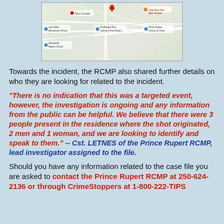[Figure (map): A Google Maps screenshot showing a street map area, with a red location pin at the top center, and map labels for local landmarks including schools, churches, and a bakery. Road lines visible across the map.]
Towards the incident, the RCMP also shared further details on who they are looking for related to the incident.
"There is no indication that this was a targeted event, however, the investigation is ongoing and any information from the public can be helpful. We believe that there were 3 people present in the residence where the shot originated, 2 men and 1 woman, and we are looking to identify and speak to them." -- Cst. LETNES of the Prince Rupert RCMP, lead investigator assigned to the file.
Should you have any information related to the case file you are asked to contact the Prince Rupert RCMP at 250-624-2136 or through CrimeStoppers at 1-800-222-TIPS